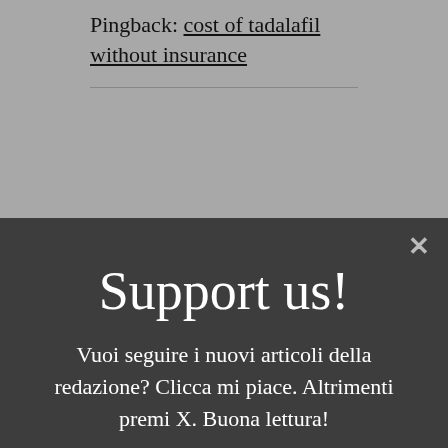Pingback: cost of tadalafil without insurance
cost
Pingback: something something cost
[Figure (screenshot): Modal popup dialog with dark background showing 'Support us!' heading and Italian text: 'Vuoi seguire i nuovi articoli della redazione? Clicca mi paice. Altrimenti premi X. Buona lettura!' with an X close button in the top right corner.]